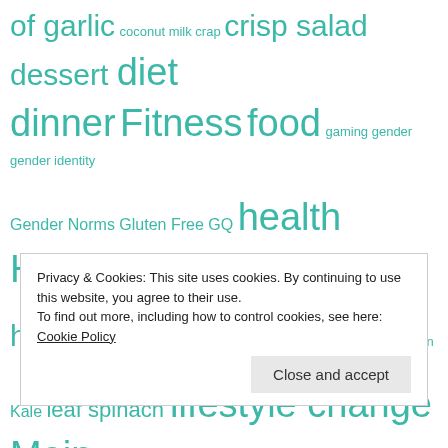[Figure (other): Tag cloud with teal/green colored words of varying sizes representing blog/website topics including: of garlic, coconut milk, crap, crisp salad, dessert, diet, dinner, Fitness, food, gaming, gender, gender identity, Gender Norms, Gluten Free, GQ, health, Healthy, healthy-living, hemp protein, ingredients, inspiration, Italian, Kale, leaf spinach, lifestyle change, Main, Meals, Mushrooms, nutritional yeast, nutritious, salad, observations, Pie, pine nuts, politics, post workout]
Privacy & Cookies: This site uses cookies. By continuing to use this website, you agree to their use.
To find out more, including how to control cookies, see here: Cookie Policy
Close and accept